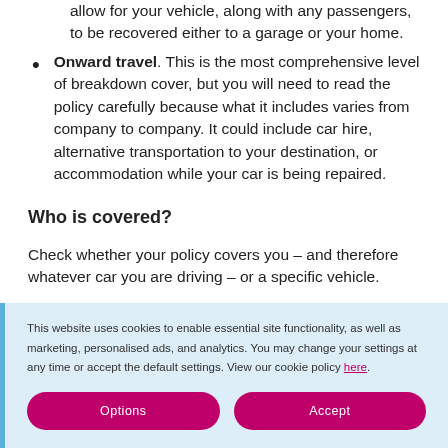allow for your vehicle, along with any passengers, to be recovered either to a garage or your home.
Onward travel. This is the most comprehensive level of breakdown cover, but you will need to read the policy carefully because what it includes varies from company to company. It could include car hire, alternative transportation to your destination, or accommodation while your car is being repaired.
Who is covered?
Check whether your policy covers you – and therefore whatever car you are driving – or a specific vehicle.
This website uses cookies to enable essential site functionality, as well as marketing, personalised ads, and analytics. You may change your settings at any time or accept the default settings. View our cookie policy here.
Options | Accept